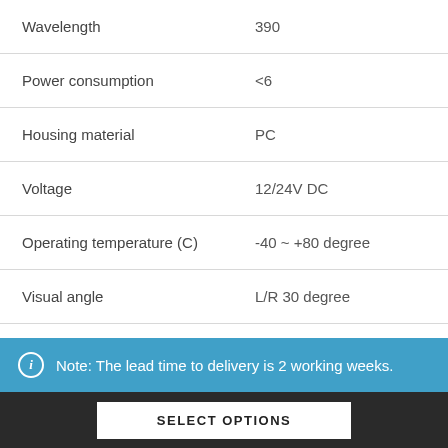| Property | Value |
| --- | --- |
| Wavelength | 390 |
| Power consumption | <6 |
| Housing material | PC |
| Voltage | 12/24V DC |
| Operating temperature (C) | -40 ~ +80 degree |
| Visual angle | L/R 30 degree |
Note: The lead time to delivery is 2 working weeks.
SELECT OPTIONS